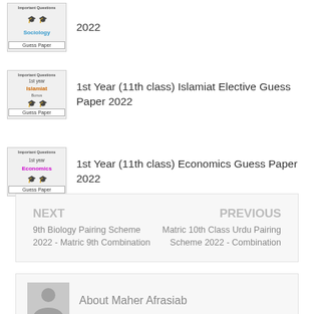1st Year (11th class) Sociology Guess Paper 2022
1st Year (11th class) Islamiat Elective Guess Paper 2022
1st Year (11th class) Economics Guess Paper 2022
NEXT
9th Biology Pairing Scheme 2022 - Matric 9th Combination
PREVIOUS
Matric 10th Class Urdu Pairing Scheme 2022 - Combination
About Maher Afrasiab